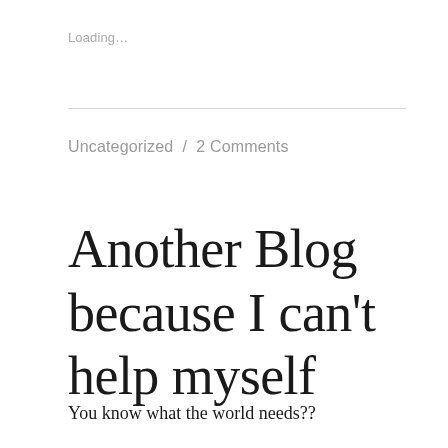Loading…
Uncategorized  /  2 Comments
Another Blog because I can't help myself
You know what the world needs??